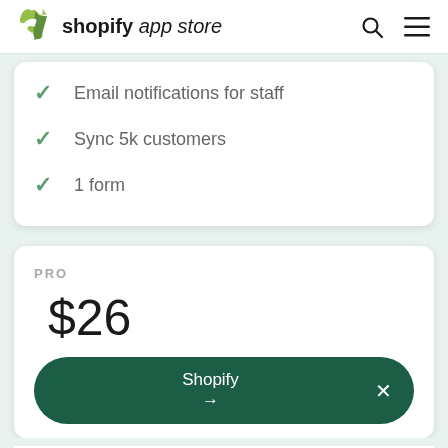shopify app store
Email notifications for staff
Sync 5k customers
1 form
PRO
$26
Shopify →
Custom fields (metafields)